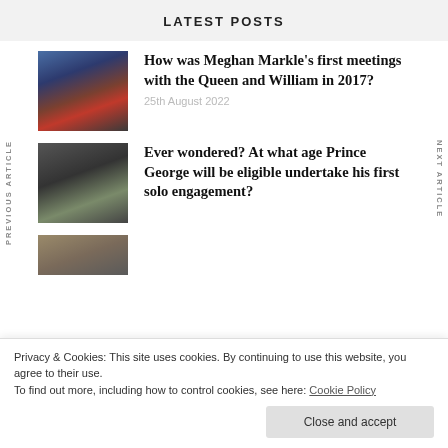LATEST POSTS
[Figure (photo): Meghan Markle and Prince Harry on a balcony in formal attire]
How was Meghan Markle's first meetings with the Queen and William in 2017?
25th August 2022
[Figure (photo): Person bending over, likely at a sporting event]
Ever wondered? At what age Prince George will be eligible undertake his first solo engagement?
Privacy & Cookies: This site uses cookies. By continuing to use this website, you agree to their use.
To find out more, including how to control cookies, see here: Cookie Policy
Close and accept